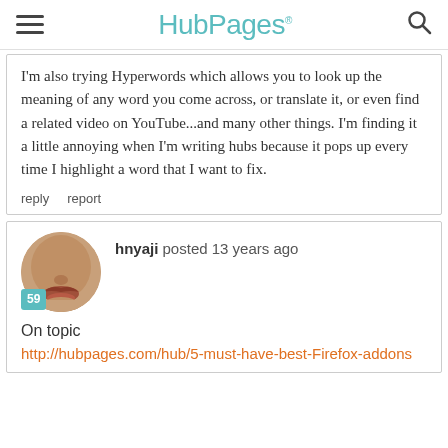HubPages
I'm also trying Hyperwords which allows you to look up the meaning of any word you come across, or translate it, or even find a related video on YouTube...and many other things. I'm finding it a little annoying when I'm writing hubs because it pops up every time I highlight a word that I want to fix.
reply   report
hnyaji posted 13 years ago
On topic
http://hubpages.com/hub/5-must-have-best-Firefox-addons